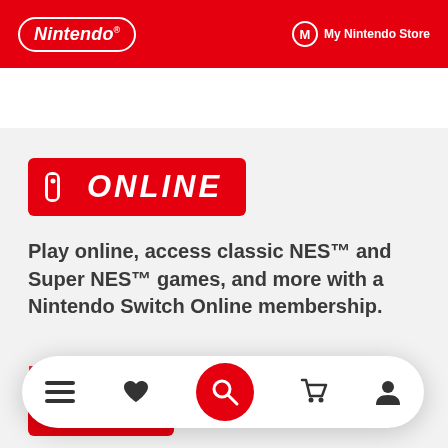Nintendo | My Nintendo Store
[Figure (logo): Nintendo Switch Online red badge logo with Switch icon and ONLINE text]
Play online, access classic NES™ and Super NES™ games, and more with a Nintendo Switch Online membership.
[Figure (screenshot): Bottom navigation bar with menu, heart, search, cart, and profile icons]